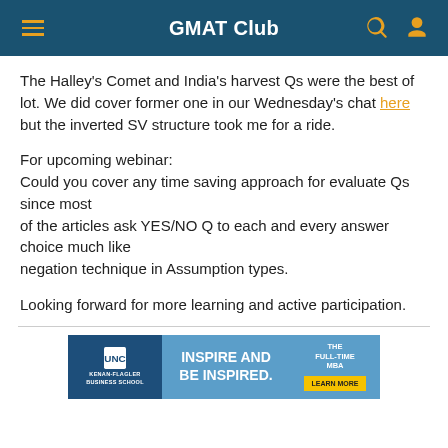GMAT Club
The Halley's Comet and India's harvest Qs were the best of lot. We did cover former one in our Wednesday's chat here but the inverted SV structure took me for a ride.
For upcoming webinar:
Could you cover any time saving approach for evaluate Qs since most of the articles ask YES/NO Q to each and every answer choice much like negation technique in Assumption types.
Looking forward for more learning and active participation.
[Figure (other): UNC Kenan-Flagler Business School advertisement banner: INSPIRE AND BE INSPIRED. THE FULL-TIME MBA. LEARN MORE button.]